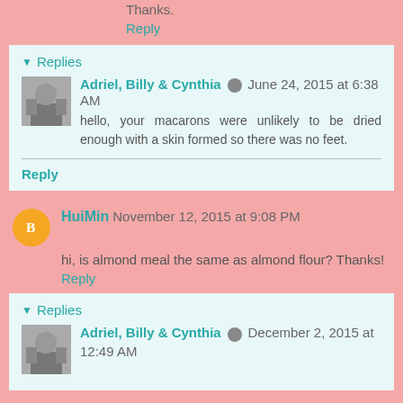Thanks.
Reply
Replies
Adriel, Billy & Cynthia  June 24, 2015 at 6:38 AM
hello, your macarons were unlikely to be dried enough with a skin formed so there was no feet.
Reply
HuiMin  November 12, 2015 at 9:08 PM
hi, is almond meal the same as almond flour? Thanks!
Reply
Replies
Adriel, Billy & Cynthia  December 2, 2015 at 12:49 AM